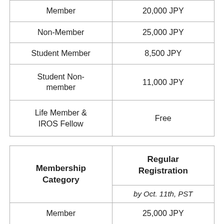| Member | 20,000 JPY |
| Non-Member | 25,000 JPY |
| Student Member | 8,500 JPY |
| Student Non-member | 11,000 JPY |
| Life Member & IROS Fellow | Free |
| Membership Category | Regular Registration
by Oct. 11th, PST |
| --- | --- |
| Member | 25,000 JPY |